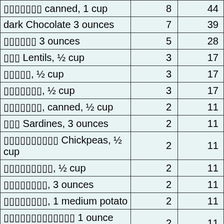| ▯▯▯▯▯▯▯ canned, 1 cup | 8 | 44 |
| dark Chocolate 3 ounces | 7 | 39 |
| ▯▯▯▯▯▯ 3 ounces | 5 | 28 |
| ▯▯▯ Lentils, ½ cup | 3 | 17 |
| ▯▯▯▯▯, ½ cup | 3 | 17 |
| ▯▯▯▯▯▯▯, ½ cup | 3 | 17 |
| ▯▯▯▯▯▯▯, canned, ½ cup | 2 | 11 |
| ▯▯▯ Sardines, 3 ounces | 2 | 11 |
| ▯▯▯▯▯▯▯▯▯▯ Chickpeas, ½ cup | 2 | 11 |
| ▯▯▯▯▯▯▯▯▯, ½ cup | 2 | 11 |
| ▯▯▯▯▯▯▯▯, 3 ounces | 2 | 11 |
| ▯▯▯▯▯▯▯▯, 1 medium potato | 2 | 11 |
| ▯▯▯▯▯▯▯▯▯▯▯▯▯ 1 ounce (18 nuts) | 2 | 11 |